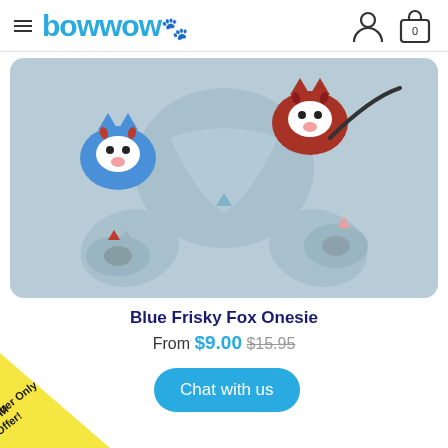bowwow
[Figure (photo): A light blue dog onesie/jumpsuit laid flat, featuring a fox pattern with blue and red fox head illustrations on the fabric. The garment has four leg openings visible.]
Blue Frisky Fox Onesie
From $9.00 $15.95
Chat with us
Member Only Offer!